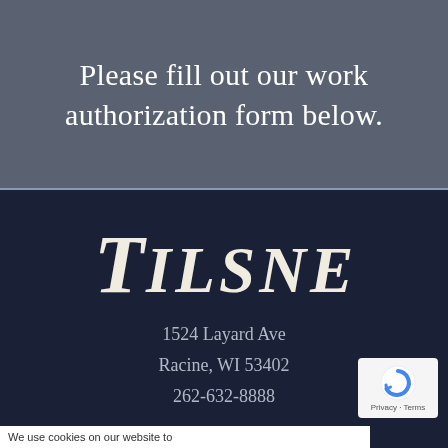Please fill out our work authorization form below.
[Figure (logo): Tilsner company logo in italic serif font]
1524 Layard Ave
Racine, WI 53402
262-632-8888
[Figure (other): reCAPTCHA privacy badge with circular arrow icon, Privacy · Terms text]
We use cookies on our website to